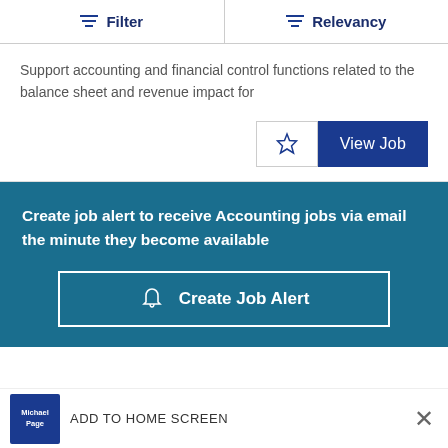Filter  Relevancy
Support accounting and financial control functions related to the balance sheet and revenue impact for
View Job
Create job alert to receive Accounting jobs via email the minute they become available
Create Job Alert
ADD TO HOME SCREEN